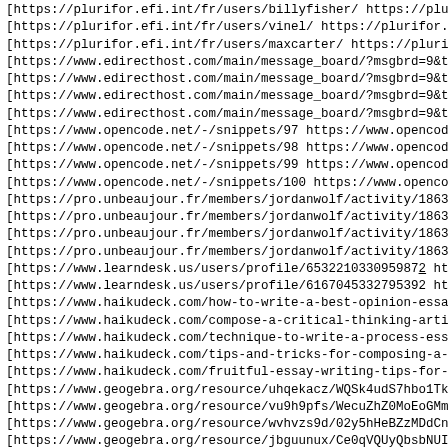[https://plurifor.efi.int/fr/users/billyfisher/ https://plu
[https://plurifor.efi.int/fr/users/vinel/ https://plurifor.
[https://plurifor.efi.int/fr/users/maxcarter/ https://pluri
[https://www.edirecthost.com/main/message_board/?msgbrd=9&t
[https://www.edirecthost.com/main/message_board/?msgbrd=9&t
[https://www.edirecthost.com/main/message_board/?msgbrd=9&t
[https://www.edirecthost.com/main/message_board/?msgbrd=9&t
[https://www.opencode.net/-/snippets/97 https://www.opencod
[https://www.opencode.net/-/snippets/98 https://www.opencod
[https://www.opencode.net/-/snippets/99 https://www.opencod
[https://www.opencode.net/-/snippets/100 https://www.openco
[https://pro.unbeaujour.fr/members/jordanwolf/activity/1863
[https://pro.unbeaujour.fr/members/jordanwolf/activity/1863
[https://pro.unbeaujour.fr/members/jordanwolf/activity/1863
[https://pro.unbeaujour.fr/members/jordanwolf/activity/1863
[https://www.learndesk.us/users/profile/653221033095987 2 ht
[https://www.learndesk.us/users/profile/6167045332795392 ht
[https://www.haikudeck.com/how-to-write-a-best-opinion-essa
[https://www.haikudeck.com/compose-a-critical-thinking-arti
[https://www.haikudeck.com/technique-to-write-a-process-ess
[https://www.haikudeck.com/tips-and-tricks-for-composing-a-
[https://www.haikudeck.com/fruitful-essay-writing-tips-for-
[https://www.geogebra.org/resource/uhqekacz/WQSk4udS7hbo1Tk
[https://www.geogebra.org/resource/vu9h9pfs/WecuZhZ0MoEoGMm
[https://www.geogebra.org/resource/wvhvzs9d/02y5hHeBZzMDdCn
[https://www.geogebra.org/resource/jbguunux/Ce0qVQUyQbsbNUI
[https://www.geogebra.org/resource/ubqwzfxx/5taiREk3vCm38xl
[https://www.gamerlaunch.com/community/users/blog/6082568/1
[https://www.gamerlaunch.com/community/users/blog/6082568/1
[https://www.gamerlaunch.com/community/users/blog/6082568/1